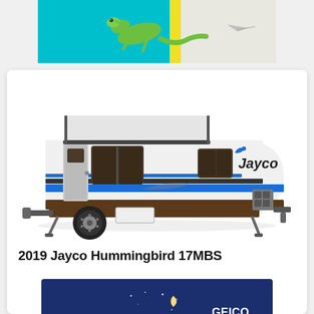[Figure (photo): Top banner advertisement with teal/cyan background on left side, a gecko/lizard graphic, yellow stripe, and grey/light background on right side. Appears to be a GEICO-style ad.]
[Figure (photo): Side profile photo of a 2019 Jayco Hummingbird 17MBS travel trailer/RV. White body with blue and dark brown/black horizontal stripes, black wheels, hitch visible on right side, Jayco branding with bird logo on front.]
2019 Jayco Hummingbird 17MBS
[Figure (photo): GEICO RV insurance advertisement. Dark navy blue background with illustrated cabin/house scene at night with stars and crescent moon. Left side reads 'Serenity & Savings' in white and coral/orange italic text. Center has illustrated cabin scene. Right side has GEICO logo, 'FOR YOUR RV' subtitle, and orange 'Start A Quote' call-to-action button.]